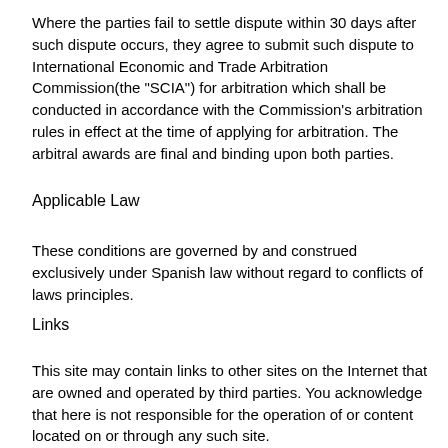Where the parties fail to settle dispute within 30 days after such dispute occurs, they agree to submit such dispute to International Economic and Trade Arbitration Commission(the "SCIA") for arbitration which shall be conducted in accordance with the Commission's arbitration rules in effect at the time of applying for arbitration. The arbitral awards are final and binding upon both parties.
Applicable Law
These conditions are governed by and construed exclusively under Spanish law without regard to conflicts of laws principles.
Links
This site may contain links to other sites on the Internet that are owned and operated by third parties. You acknowledge that here is not responsible for the operation of or content located on or through any such site.